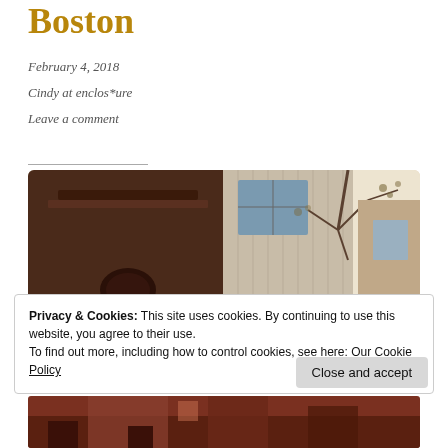Boston
February 4, 2018
Cindy at enclos*ure
Leave a comment
[Figure (photo): Street-level photo of a brownstone building with decorative woodwork facade and bare tree branches against a light sky, warm vintage tones]
Privacy & Cookies: This site uses cookies. By continuing to use this website, you agree to their use.
To find out more, including how to control cookies, see here: Our Cookie Policy
[Figure (photo): Bottom strip of a photo showing a street scene with reddish tones, partially visible]